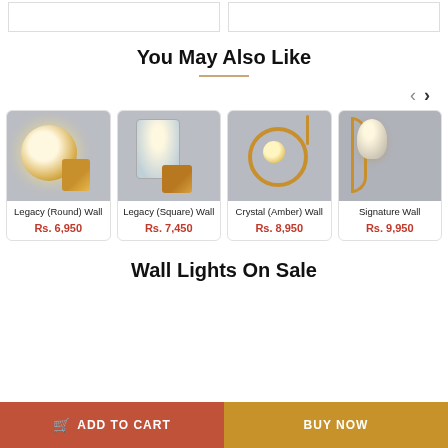You May Also Like
[Figure (photo): Legacy (Round) Wall lamp product photo - gold/brass round globe wall sconce]
Legacy (Round) Wall
Rs. 6,950
[Figure (photo): Legacy (Square) Wall lamp product photo - gold/brass square glass wall sconce]
Legacy (Square) Wall
Rs. 7,450
[Figure (photo): Crystal (Amber) Wall lamp product photo - gold hoop ring wall lamp]
Crystal (Amber) Wall
Rs. 8,950
[Figure (photo): Signature Wall lamp product photo - crystal curved arm wall sconce]
Signature Wall
Rs. 9,950
Wall Lights On Sale
ADD TO CART
BUY NOW